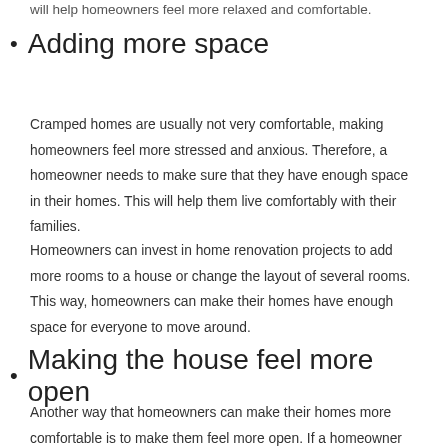will help homeowners feel more relaxed and comfortable.
Adding more space
Cramped homes are usually not very comfortable, making homeowners feel more stressed and anxious. Therefore, a homeowner needs to make sure that they have enough space in their homes. This will help them live comfortably with their families.
Homeowners can invest in home renovation projects to add more rooms to a house or change the layout of several rooms. This way, homeowners can make their homes have enough space for everyone to move around.
Making the house feel more open
Another way that homeowners can make their homes more comfortable is to make them feel more open. If a homeowner has several rooms in their house, making sure that these rooms are